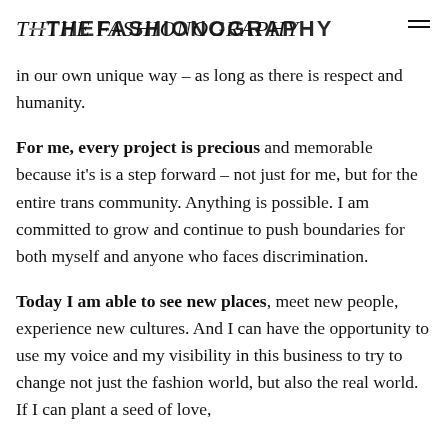THE FASHIONOGRAPHY
in our own unique way – as long as there is respect and humanity.
For me, every project is precious and memorable because it's is a step forward – not just for me, but for the entire trans community. Anything is possible. I am committed to grow and continue to push boundaries for both myself and anyone who faces discrimination.
Today I am able to see new places, meet new people, experience new cultures. And I can have the opportunity to use my voice and my visibility in this business to try to change not just the fashion world, but also the real world. If I can plant a seed of love,